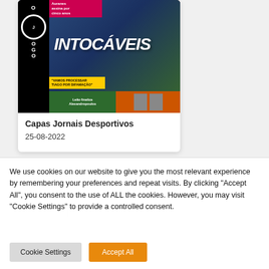[Figure (photo): Newspaper front cover of 'O Jogo' sports newspaper showing football players with headline 'INTOCÁVEIS' and various article previews]
Capas Jornais Desportivos
25-08-2022
We use cookies on our website to give you the most relevant experience by remembering your preferences and repeat visits. By clicking "Accept All", you consent to the use of ALL the cookies. However, you may visit "Cookie Settings" to provide a controlled consent.
Cookie Settings
Accept All